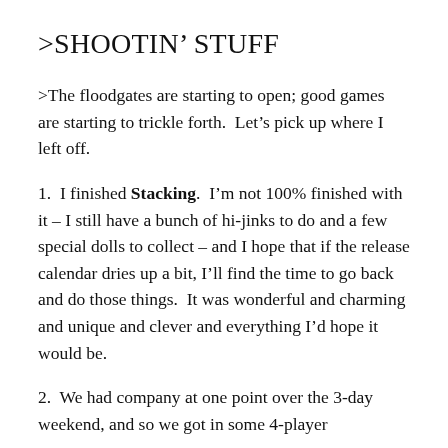>SHOOTIN' STUFF
>The floodgates are starting to open; good games are starting to trickle forth.  Let's pick up where I left off.
1.  I finished Stacking.  I'm not 100% finished with it – I still have a bunch of hi-jinks to do and a few special dolls to collect – and I hope that if the release calendar dries up a bit, I'll find the time to go back and do those things.  It was wonderful and charming and unique and clever and everything I'd hope it would be.
2.  We had company at one point over the 3-day weekend, and so we got in some 4-player